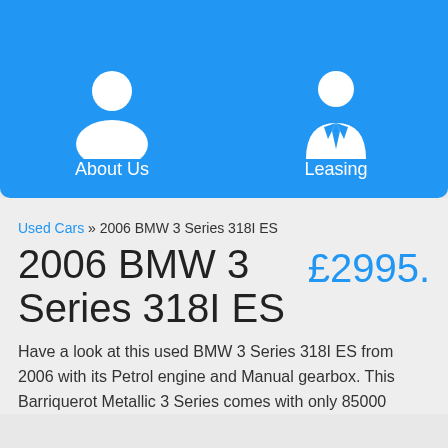[Figure (illustration): Blue banner with two white icons: a person (About Us) and a business person with tie (Leasing), with labels below each icon]
About Us
Leasing
Used Cars » 2006 BMW 3 Series 318I ES
2006 BMW 3 Series 318I ES
£2995.
Have a look at this used BMW 3 Series 318I ES from 2006 with its Petrol engine and Manual gearbox. This Barriquerot Metallic 3 Series comes with only 85000